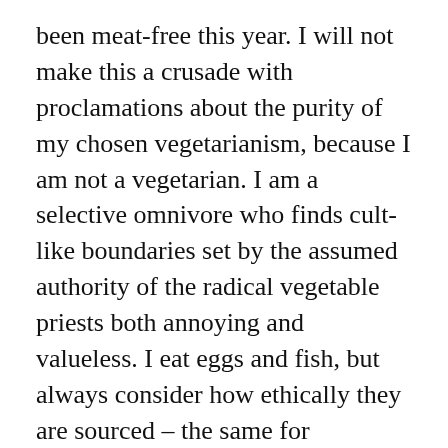been meat-free this year. I will not make this a crusade with proclamations about the purity of my chosen vegetarianism, because I am not a vegetarian. I am a selective omnivore who finds cult-like boundaries set by the assumed authority of the radical vegetable priests both annoying and valueless. I eat eggs and fish, but always consider how ethically they are sourced – the same for vegetable products. So far I am happy eating this way and the aim is to reduce meat in my diet by making selective omnivorousness my future way.
Weight – I've also resumed the 5:2 diet.